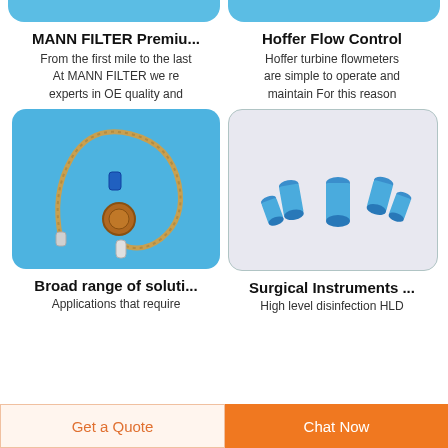[Figure (photo): Partial blue rounded rectangle card at top left]
[Figure (photo): Partial blue rounded rectangle card at top right]
MANN FILTER Premiu...
From the first mile to the last At MANN FILTER we re experts in OE quality and
Hoffer Flow Control
Hoffer turbine flowmeters are simple to operate and maintain For this reason
[Figure (photo): Blue background card with a flexible tube/catheter with circular filter disc and connector ends]
[Figure (photo): Light purple/grey background card with several blue cylindrical caps/connectors scattered]
Broad range of soluti...
Applications that require
Surgical Instruments ...
High level disinfection HLD
Get a Quote
Chat Now